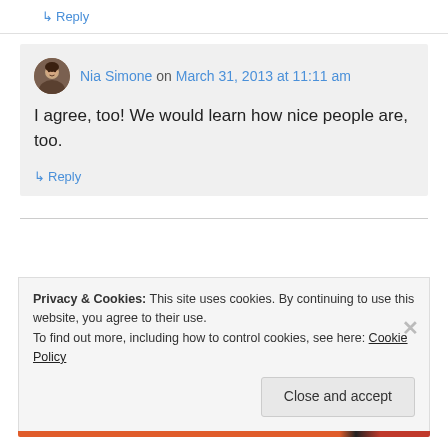↳ Reply
Nia Simone on March 31, 2013 at 11:11 am
I agree, too! We would learn how nice people are, too.
↳ Reply
Privacy & Cookies: This site uses cookies. By continuing to use this website, you agree to their use.
To find out more, including how to control cookies, see here: Cookie Policy
Close and accept